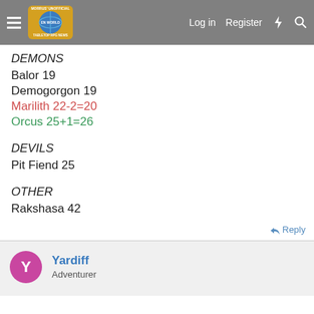Morrus' Unofficial Tabletop RPG News — Log in | Register
DEMONS
Balor 19
Demogorgon 19
Marilith 22-2=20
Orcus 25+1=26
DEVILS
Pit Fiend 25
OTHER
Rakshasa 42
Reply
Yardiff — Adventurer